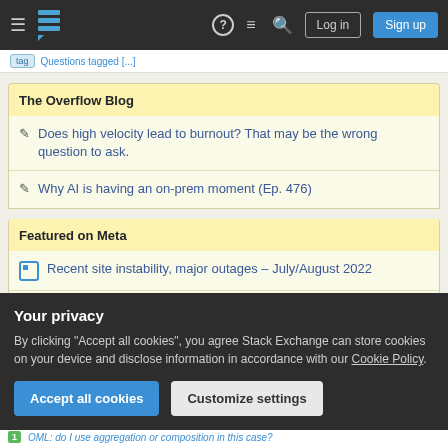Stack Overflow navigation bar with Log in and Sign up buttons
The Overflow Blog
Does high velocity lead to burnout? That may be the wrong question to ask.
Why AI is having an on-prem moment (Ep. 476)
Featured on Meta
Recent site instability, major outages – July/August 2022
Please welcome Valued Associate #1301 – Emerson
Your privacy
By clicking "Accept all cookies", you agree Stack Exchange can store cookies on your device and disclose information in accordance with our Cookie Policy.
Accept all cookies | Customize settings
OML: do I use aggregation or composition in this case?